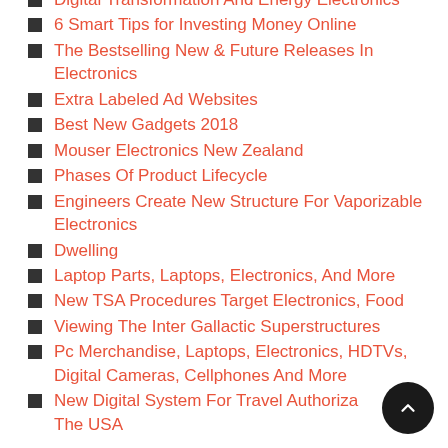Digital Transformation And Energy Electronics
6 Smart Tips for Investing Money Online
The Bestselling New & Future Releases In Electronics
Extra Labeled Ad Websites
Best New Gadgets 2018
Mouser Electronics New Zealand
Phases Of Product Lifecycle
Engineers Create New Structure For Vaporizable Electronics
Dwelling
Laptop Parts, Laptops, Electronics, And More
New TSA Procedures Target Electronics, Food
Viewing The Inter Gallactic Superstructures
Pc Merchandise, Laptops, Electronics, HDTVs, Digital Cameras, Cellphones And More
New Digital System For Travel Authorization In The USA
Hypnotizing The Money By Digital Thought...